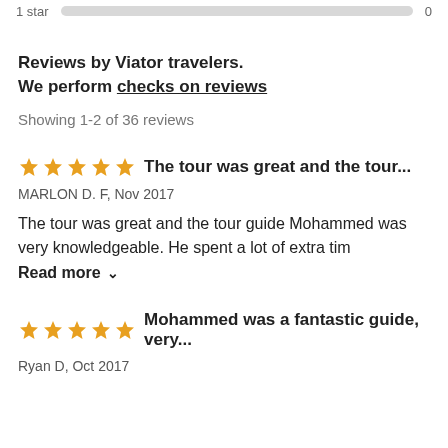1 star  [bar]  0
Reviews by Viator travelers.
We perform checks on reviews
Showing 1-2 of 36 reviews
★★★★★ The tour was great and the tour...
MARLON D. F, Nov 2017
The tour was great and the tour guide Mohammed was very knowledgeable. He spent a lot of extra tim
Read more ∨
★★★★★ Mohammed was a fantastic guide, very...
Ryan D, Oct 2017